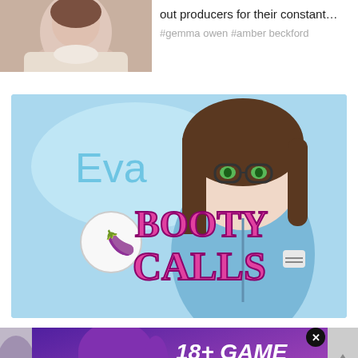[Figure (photo): Partial photo of a person's face and shoulder/upper body, cropped at top]
out producers for their constant…
#gemma owen #amber beckford
[Figure (illustration): Booty Calls mobile game advertisement featuring anime-style illustration of a girl named Eva wearing glasses and a blue hoodie, with 'Booty Calls' logo in pink text with eggplant emoji]
[Figure (illustration): Nutaku.net 18+ game advertisement featuring an anime-style female warrior character with purple hair and glowing cyan eyes, with text '18+ GAME nutaku.net' and a pink 'PLAY FREE' button. Has an X close button.]
has